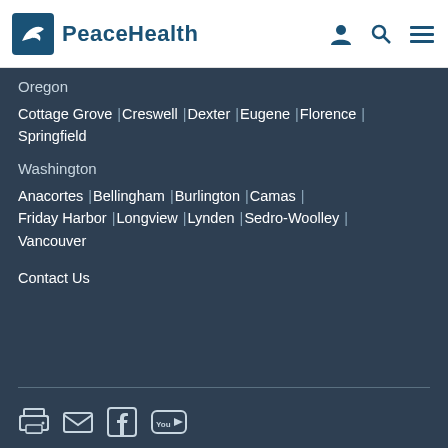PeaceHealth
Oregon
Cottage Grove | Creswell | Dexter | Eugene | Florence | Springfield
Washington
Anacortes | Bellingham | Burlington | Camas | Friday Harbor | Longview | Lynden | Sedro-Woolley | Vancouver
Contact Us
[Figure (logo): Social media and share icons: print, email, Facebook, YouTube]